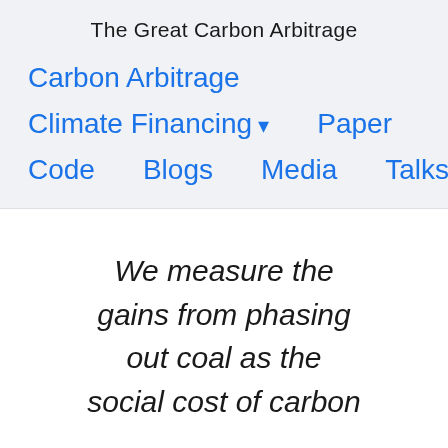The Great Carbon Arbitrage
Carbon Arbitrage
Climate Financing ▾   Paper
Code   Blogs   Media   Talks
We measure the gains from phasing out coal as the social cost of carbon